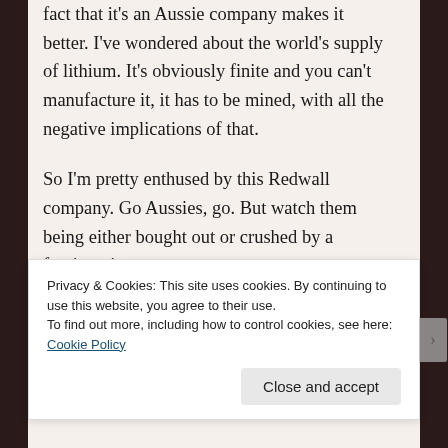fact that it's an Aussie company makes it better. I've wondered about the world's supply of lithium. It's obviously finite and you can't manufacture it, it has to be mined, with all the negative implications of that.
So I'm pretty enthused by this Redwall company. Go Aussies, go. But watch them being either bought out or crushed by a foreign giant.
Privacy & Cookies: This site uses cookies. By continuing to use this website, you agree to their use.
To find out more, including how to control cookies, see here: Cookie Policy